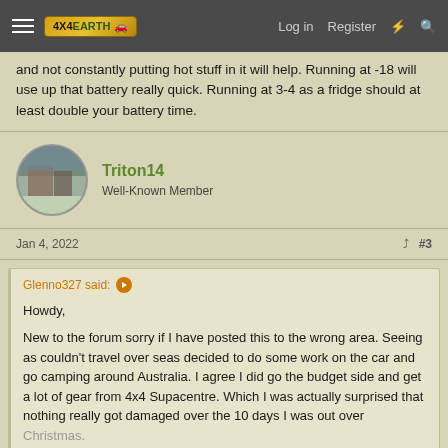4X4EARTH — Log in | Register
and not constantly putting hot stuff in it will help. Running at -18 will use up that battery really quick. Running at 3-4 as a fridge should at least double your battery time.
Triton14
Well-Known Member
Jan 4, 2022 #3
Glenno327 said:
Howdy,

New to the forum sorry if I have posted this to the wrong area. Seeing as couldn't travel over seas decided to do some work on the car and go camping around Australia. I agree I did go the budget side and get a lot of gear from 4x4 Supacentre. Which I was actually surprised that nothing really got damaged over the 10 days I was out over Christmas.
Click to expand...